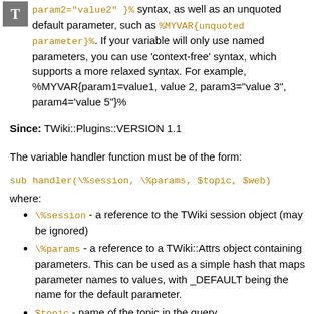[Figure (logo): Gray square with white letter T]
param2="value2" }% syntax, as well as an unquoted default parameter, such as %MYVAR{unquoted parameter}%. If your variable will only use named parameters, you can use 'context-free' syntax, which supports a more relaxed syntax. For example, %MYVAR{param1=value1, value 2, param3="value 3", param4='value 5"}%
Since: TWiki::Plugins::VERSION 1.1
The variable handler function must be of the form:
sub handler(\%session, \%params, $topic, $web)
where:
\%session - a reference to the TWiki session object (may be ignored)
\%params - a reference to a TWiki::Attrs object containing parameters. This can be used as a simple hash that maps parameter names to values, with _DEFAULT being the name for the default parameter.
$topic - name of the topic in the query
$web - name of the web in the query
$... - topic meta data to use while expanding, can be ...